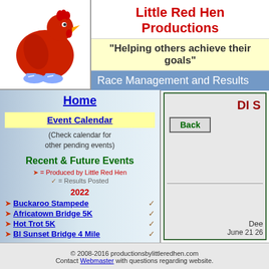[Figure (illustration): Little Red Hen cartoon mascot - a red hen wearing blue sneakers]
Little Red Hen Productions
"Helping others achieve their goals"
Race Management and Results
Home
Event Calendar
(Check calendar for other pending events)
Recent & Future Events
= Produced by Little Red Hen
= Results Posted
2022
Buckaroo Stampede
Africatown Bridge 5K
Hot Trot 5K
Bl Sunset Bridge 4 Mile
DI S
Back
© 2008-2016 productionsbylittleredhen.com
Contact Webmaster with questions regarding website.